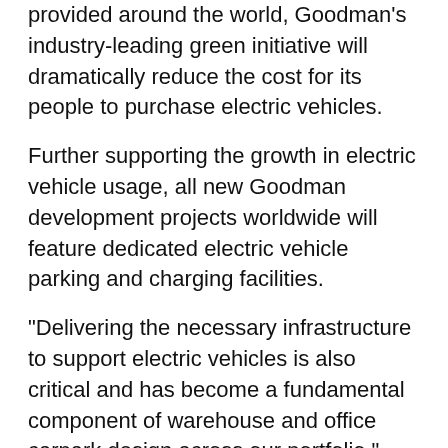provided around the world, Goodman's industry-leading green initiative will dramatically reduce the cost for its people to purchase electric vehicles.
Further supporting the growth in electric vehicle usage, all new Goodman development projects worldwide will feature dedicated electric vehicle parking and charging facilities.
“Delivering the necessary infrastructure to support electric vehicles is also critical and has become a fundamental component of warehouse and office carpark design across our portfolio,” Goodman said.
–ENDS –
https://us.goodman.com/
ⓘ Submit your logistics, material handling, or supply chain related company news in Supply Chain Quarterly’s's Industry Press Room section or New